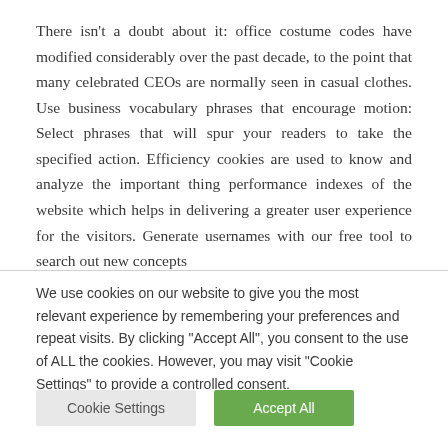There isn't a doubt about it: office costume codes have modified considerably over the past decade, to the point that many celebrated CEOs are normally seen in casual clothes. Use business vocabulary phrases that encourage motion: Select phrases that will spur your readers to take the specified action. Efficiency cookies are used to know and analyze the important thing performance indexes of the website which helps in delivering a greater user experience for the visitors. Generate usernames with our free tool to search out new concepts
We use cookies on our website to give you the most relevant experience by remembering your preferences and repeat visits. By clicking "Accept All", you consent to the use of ALL the cookies. However, you may visit "Cookie Settings" to provide a controlled consent.